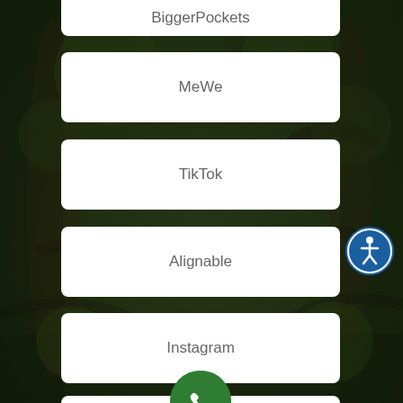BiggerPockets
MeWe
TikTok
Alignable
Instagram
[Figure (screenshot): Phone/call button (green circle with white phone icon) inside a white rounded rectangle button]